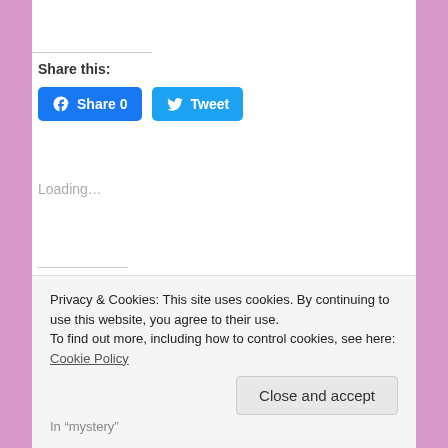Share this:
[Figure (other): Facebook Share button with count 0 and Twitter Tweet button]
Loading…
Related
A Bit of This and That
Be There – Using ALL
Privacy & Cookies: This site uses cookies. By continuing to use this website, you agree to their use. To find out more, including how to control cookies, see here: Cookie Policy
Close and accept
In "mystery"